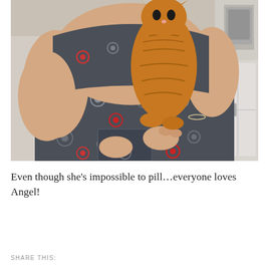[Figure (photo): A veterinary staff member wearing dark floral-patterned scrubs holding an orange tabby cat tightly against her chest in what appears to be a veterinary clinic. The cat is being held upright with both hands. A sink is visible in the background.]
Even though she’s impossible to pill…everyone loves Angel!
SHARE THIS: